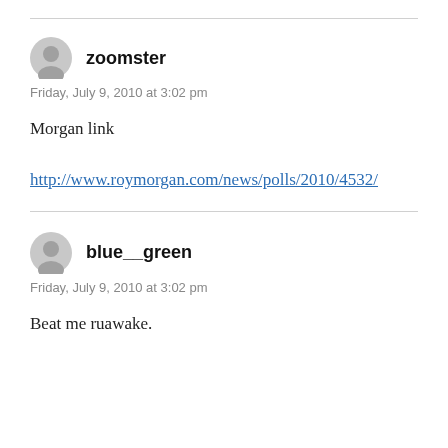[Figure (other): Horizontal divider line at top of page]
[Figure (other): Gray circular avatar icon for user zoomster]
zoomster
Friday, July 9, 2010 at 3:02 pm
Morgan link
http://www.roymorgan.com/news/polls/2010/4532/
[Figure (other): Horizontal divider line between comments]
[Figure (other): Gray circular avatar icon for user blue__green]
blue__green
Friday, July 9, 2010 at 3:02 pm
Beat me ruawake.